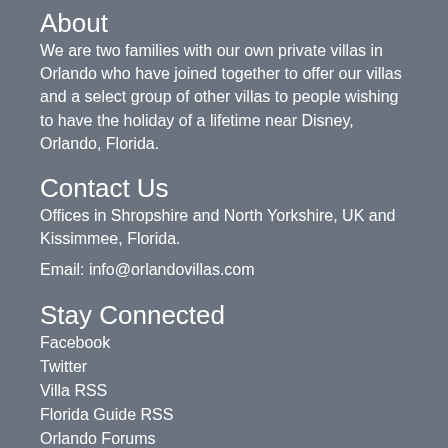About
We are two families with our own private villas in Orlando who have joined together to offer our villas and a select group of other villas to people wishing to have the holiday of a lifetime near Disney, Orlando, Florida.
Contact Us
Offices in Shropshire and North Yorkshire, UK and Kissimmee, Florida.
Email: info@orlandovillas.com
Stay Connected
Facebook
Twitter
Villa RSS
Florida Guide RSS
Orlando Forums